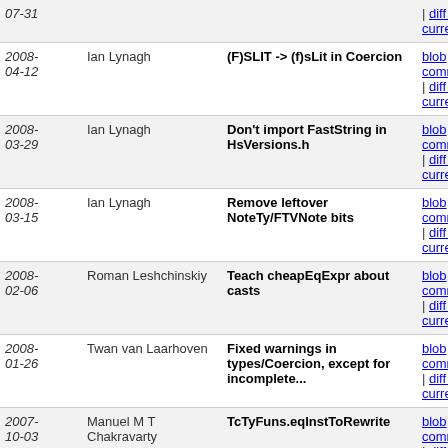| Date | Author | Message | Links |
| --- | --- | --- | --- |
| 07-31 |  |  | | diff to current |
| 2008-04-12 | Ian Lynagh | (F)SLIT -> (f)sLit in Coercion | blob | commitdiff | diff to current |
| 2008-03-29 | Ian Lynagh | Don't import FastString in HsVersions.h | blob | commitdiff | diff to current |
| 2008-03-15 | Ian Lynagh | Remove leftover NoteTy/FTVNote bits | blob | commitdiff | diff to current |
| 2008-02-06 | Roman Leshchinskiy | Teach cheapEqExpr about casts | blob | commitdiff | diff to current |
| 2008-01-26 | Twan van Laarhoven | Fixed warnings in types/Coercion, except for incomplete... | blob | commitdiff | diff to current |
| 2007-10-03 | Manuel M T Chakravarty | TcTyFuns.eqInstToRewrite | blob | commitdiff | diff to current |
| 2007-09-29 | Manuel M T Chakravarty | Some more traceTcs | blob | commitdiff | diff to current |
| 2007-09-10 | Manuel M T Chakravarty | Cleaned up version of Tom's unflattened skolemOccurs | blob | commitdiff | diff to current |
| 2007-09-04 | Ian Lynagh | Fix CodingStyle#Warnings URLs | blob | commitdiff | diff to current |
| 2007- | Ian Lynagh | Use OPTIONS rather than | blob | commitdiff |